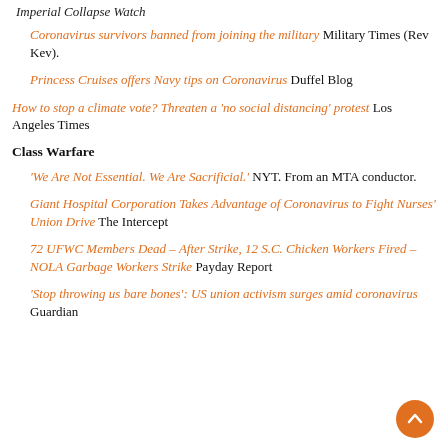Imperial Collapse Watch
Coronavirus survivors banned from joining the military Military Times (Rev Kev).
Princess Cruises offers Navy tips on Coronavirus Duffel Blog
How to stop a climate vote? Threaten a 'no social distancing' protest Los Angeles Times
Class Warfare
'We Are Not Essential. We Are Sacrificial.' NYT. From an MTA conductor.
Giant Hospital Corporation Takes Advantage of Coronavirus to Fight Nurses' Union Drive The Intercept
72 UFWC Members Dead – After Strike, 12 S.C. Chicken Workers Fired – NOLA Garbage Workers Strike Payday Report
'Stop throwing us bare bones': US union activism surges amid coronavirus Guardian